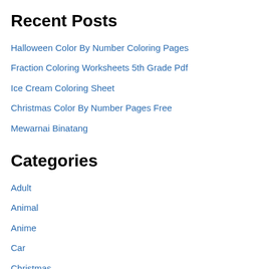Recent Posts
Halloween Color By Number Coloring Pages
Fraction Coloring Worksheets 5th Grade Pdf
Ice Cream Coloring Sheet
Christmas Color By Number Pages Free
Mewarnai Binatang
Categories
Adult
Animal
Anime
Car
Christmas
Coloring Book